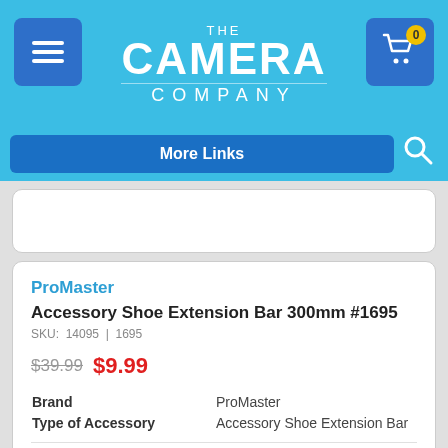THE CAMERA COMPANY
More Links
[Figure (screenshot): Empty product image placeholder area]
ProMaster
Accessory Shoe Extension Bar 300mm #1695
SKU: 14095 | 1695
$39.99  $9.99
| Attribute | Value |
| --- | --- |
| Brand | ProMaster |
| Type of Accessory | Accessory Shoe Extension Bar |